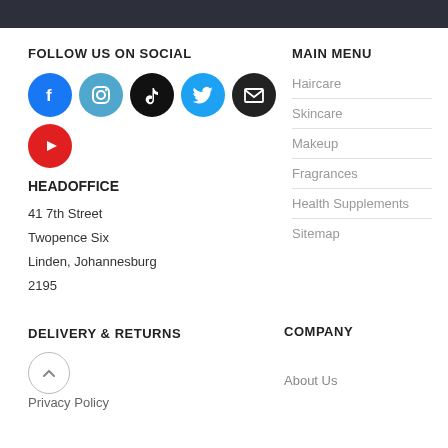FOLLOW US ON SOCIAL
[Figure (illustration): Row of social media icon circles: Facebook (blue), Instagram (light blue), TikTok (black), Twitter (blue), Email (black), then YouTube (red) on next row]
HEADOFFICE
41 7th Street
Twopence Six
Linden, Johannesburg
2195
MAIN MENU
Haircare
Skincare
Makeup
Fragrances
Health Supplements
Sitemap
DELIVERY & RETURNS
Privacy Policy
COMPANY
About Us